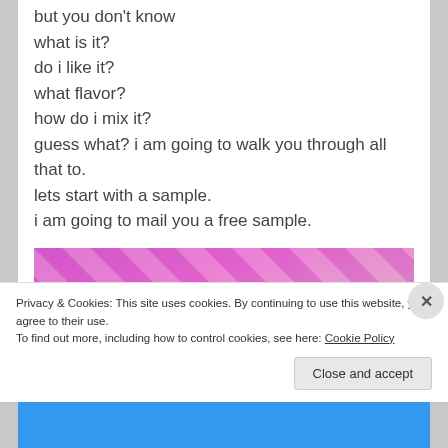but you don't know
what is it?
do i like it?
what flavor?
how do i mix it?
guess what? i am going to walk you through all that to.
lets start with a sample.
i am going to mail you a free sample.
[Figure (photo): Image showing the word SAMPLE in large bold white letters against a colorful pink, purple and dark background]
Privacy & Cookies: This site uses cookies. By continuing to use this website, you agree to their use.
To find out more, including how to control cookies, see here: Cookie Policy
Close and accept